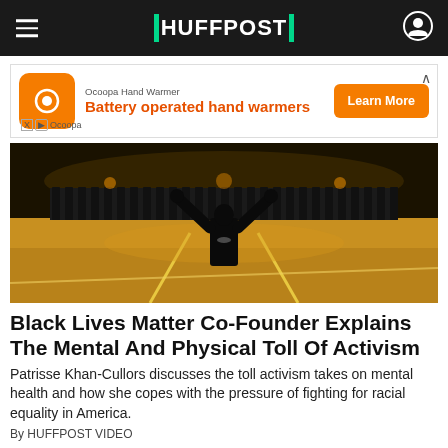HUFFPOST
[Figure (screenshot): Advertisement banner for Ocoopa Hand Warmer: Battery operated hand warmers, with Learn More button]
[Figure (photo): A person with arms raised facing a line of police officers at night on a city street]
Black Lives Matter Co-Founder Explains The Mental And Physical Toll Of Activism
Patrisse Khan-Cullors discusses the toll activism takes on mental health and how she copes with the pressure of fighting for racial equality in America.
By HUFFPOST VIDEO